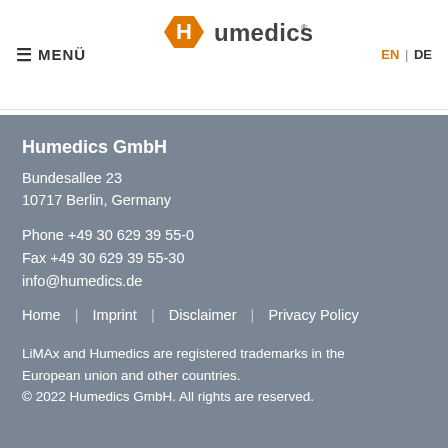≡ MENÜ | Humedics logo | EN | DE
Humedics GmbH
Bundesallee 23
10717 Berlin, Germany
Phone +49 30 629 39 55-0
Fax +49 30 629 39 55-30
info@humedics.de
Home  |  Imprint  |  Disclaimer  |  Privacy Policy
LiMAx and Humedics are registered trademarks in the European union and other countries.
© 2022 Humedics GmbH. All rights are reserved.